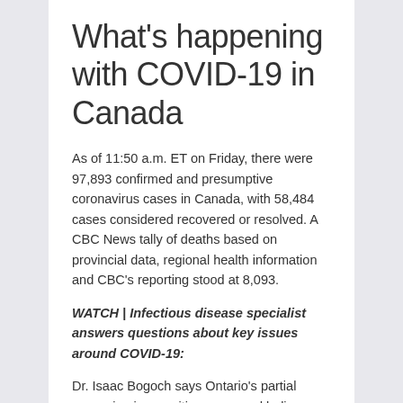What's happening with COVID-19 in Canada
As of 11:50 a.m. ET on Friday, there were 97,893 confirmed and presumptive coronavirus cases in Canada, with 58,484 cases considered recovered or resolved. A CBC News tally of deaths based on provincial data, regional health information and CBC's reporting stood at 8,093.
WATCH | Infectious disease specialist answers questions about key issues around COVID-19:
Dr. Isaac Bogoch says Ontario's partial reopening is a positive move and believes the benefits of allowing visitors back into long-term care homes now 'significantly outweigh the risks. 7:11 Prosecutors questioned Italian Premier Giuseppe Conte on Friday about the lack of a lockdown of two towns in Lombardy's Bergamo